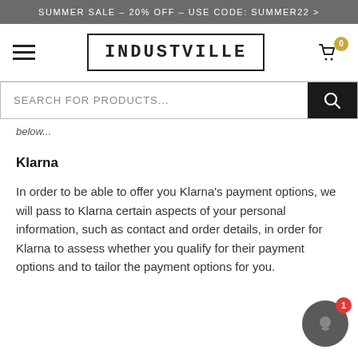SUMMER SALE – 20% OFF – USE CODE: SUMMER22 >
[Figure (screenshot): Industville website header with hamburger menu, logo in bordered box, and cart icon with 0 badge]
[Figure (screenshot): Search bar with placeholder text 'SEARCH FOR PRODUCTS...' and black search button]
below...
Klarna
In order to be able to offer you Klarna's payment options, we will pass to Klarna certain aspects of your personal information, such as contact and order details, in order for Klarna to assess whether you qualify for their payment options and to tailor the payment options for you.